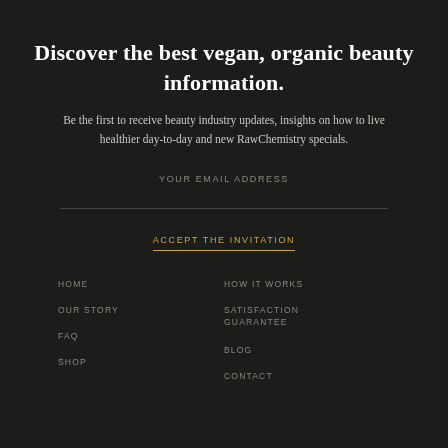Discover the best vegan, organic beauty information.
Be the first to receive beauty industry updates, insights on how to live healthier day-to-day and new RawChemistry specials.
YOUR EMAIL ADDRESS
ACCEPT THE INVITATION
HOME
HOW IT WORKS
OUR STORY
SATISFACTION GUARANTEE
FAQ
BLOG
SHOP
CONTACT